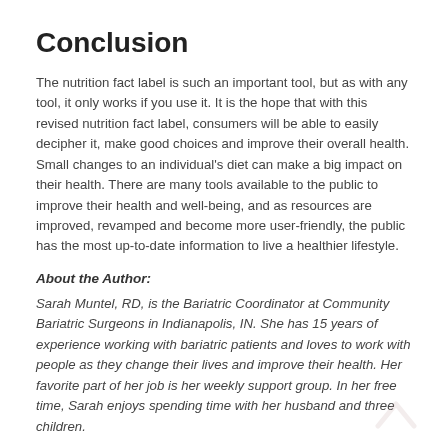Conclusion
The nutrition fact label is such an important tool, but as with any tool, it only works if you use it. It is the hope that with this revised nutrition fact label, consumers will be able to easily decipher it, make good choices and improve their overall health. Small changes to an individual’s diet can make a big impact on their health. There are many tools available to the public to improve their health and well-being, and as resources are improved, revamped and become more user-friendly, the public has the most up-to-date information to live a healthier lifestyle.
About the Author:
Sarah Muntel, RD, is the Bariatric Coordinator at Community Bariatric Surgeons in Indianapolis, IN. She has 15 years of experience working with bariatric patients and loves to work with people as they change their lives and improve their health. Her favorite part of her job is her weekly support group. In her free time, Sarah enjoys spending time with her husband and three children.